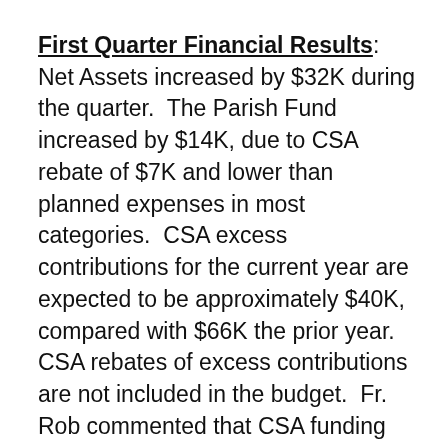First Quarter Financial Results: Net Assets increased by $32K during the quarter. The Parish Fund increased by $14K, due to CSA rebate of $7K and lower than planned expenses in most categories. CSA excess contributions for the current year are expected to be approximately $40K, compared with $66K the prior year. CSA rebates of excess contributions are not included in the budget. Fr. Rob commented that CSA funding has challenges because of negative reports about the Church in general, not specific to Blessed Sacrament. Memorial Fund increased by $2K because of donations. Christian Service Fund activity reflects expenditures for emergency assistance payments. Payments this quarter have been lower than both budget and corresponding quarter last year. Reduction in Major Expenditure Fund reflects HVAC Control